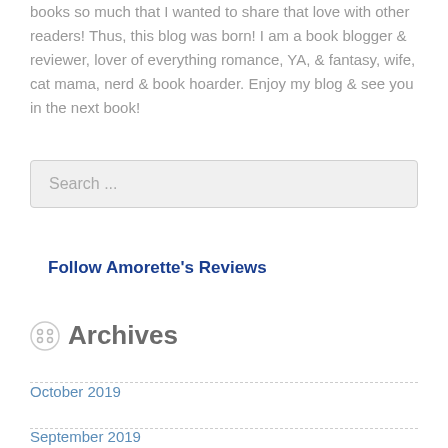books so much that I wanted to share that love with other readers! Thus, this blog was born! I am a book blogger & reviewer, lover of everything romance, YA, & fantasy, wife, cat mama, nerd & book hoarder. Enjoy my blog & see you in the next book!
Search ...
Follow Amorette's Reviews
Archives
October 2019
September 2019